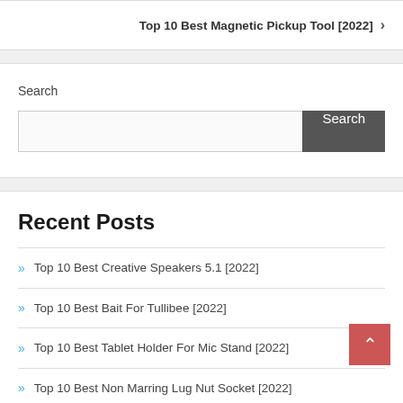Top 10 Best Magnetic Pickup Tool [2022] >
Search
Search (input field with Search button)
Recent Posts
Top 10 Best Creative Speakers 5.1 [2022]
Top 10 Best Bait For Tullibee [2022]
Top 10 Best Tablet Holder For Mic Stand [2022]
Top 10 Best Non Marring Lug Nut Socket [2022]